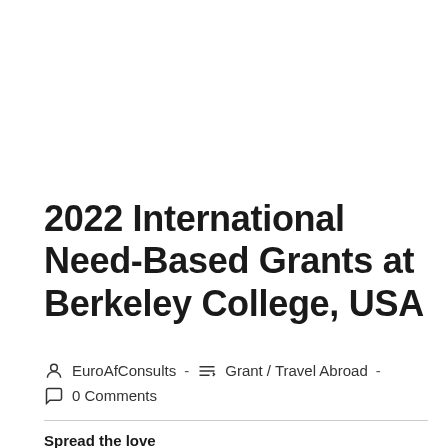2022 International Need-Based Grants at Berkeley College, USA
EuroAfConsults - Grant / Travel Abroad - 0 Comments
Spread the love